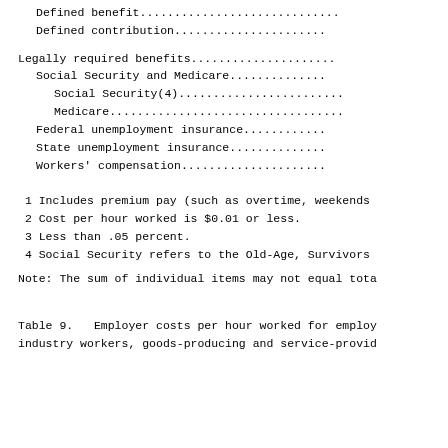Defined benefit............................
Defined contribution......................
Legally required benefits.....................
Social Security and Medicare..............
Social Security(4)........................
Medicare..................................
Federal unemployment insurance............
State unemployment insurance..............
Workers' compensation.....................
1 Includes premium pay (such as overtime, weekends
2 Cost per hour worked is $0.01 or less.
3 Less than .05 percent.
4 Social Security refers to the Old-Age, Survivors
Note: The sum of individual items may not equal tota
Table 9.   Employer costs per hour worked for employ industry workers, goods-producing and service-provid